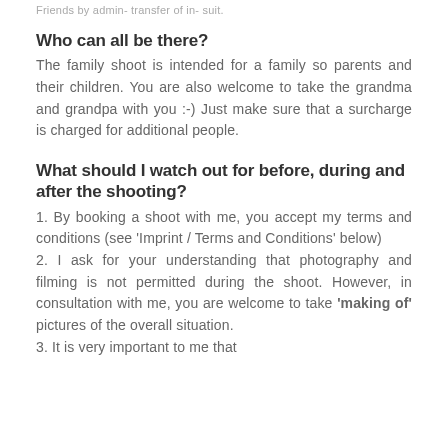Friends by admin- transfer of in- suit.
Who can all be there?
The family shoot is intended for a family so parents and their children. You are also welcome to take the grandma and grandpa with you :-) Just make sure that a surcharge is charged for additional people.
What should I watch out for before, during and after the shooting?
1. By booking a shoot with me, you accept my terms and conditions (see 'Imprint / Terms and Conditions' below)
2. I ask for your understanding that photography and filming is not permitted during the shoot. However, in consultation with me, you are welcome to take 'making of' pictures of the overall situation.
3. It is very important to me that